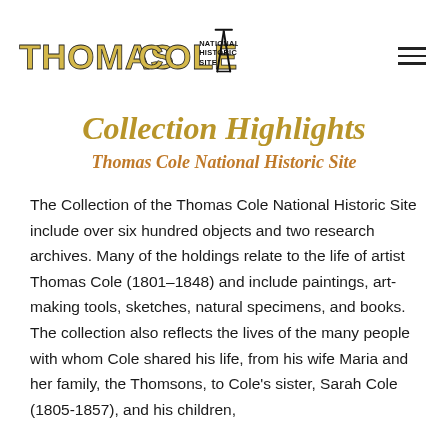THOMAS COLE NATIONAL HISTORIC SITE
Collection Highlights
Thomas Cole National Historic Site
The Collection of the Thomas Cole National Historic Site include over six hundred objects and two research archives. Many of the holdings relate to the life of artist Thomas Cole (1801–1848) and include paintings, art-making tools, sketches, natural specimens, and books. The collection also reflects the lives of the many people with whom Cole shared his life, from his wife Maria and her family, the Thomsons, to Cole's sister, Sarah Cole (1805-1857), and his children,